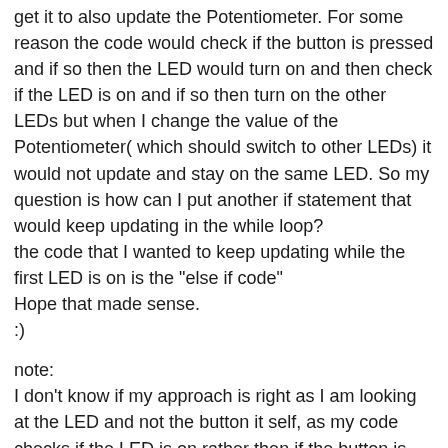get it to also update the Potentiometer. For some reason the code would check if the button is pressed and if so then the LED would turn on and then check if the LED is on and if so then turn on the other LEDs but when I change the value of the Potentiometer( which should switch to other LEDs) it would not update and stay on the same LED. So my question is how can I put another if statement that would keep updating in the while loop?
the code that I wanted to keep updating while the first LED is on is the "else if code"
Hope that made sense.
:)
note:
I don't know if my approach is right as I am looking at the LED and not the button it self, as my code checks if the LED is on rather then if the button is pressed.
( btw its not a switch which would have made my life a lot easier :( "